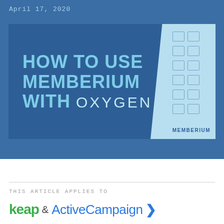April 17, 2020
[Figure (illustration): Thumbnail image with dark blue background reading 'HOW TO USE MEMBERIUM WITH OXYGEN' in bold light-blue uppercase text, with a light blue panel on the right showing icon patterns and the Memberium logo at the bottom.]
THIS ARTICLE APPLIES TO
keap & ActiveCampaign >